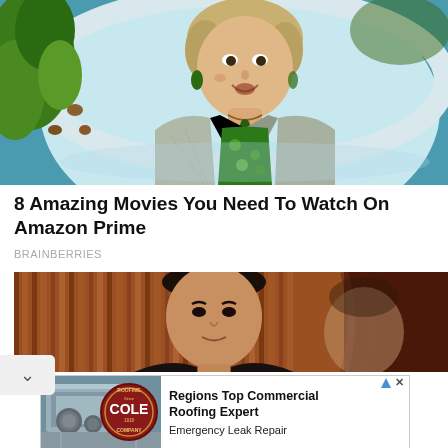[Figure (photo): A woman in a bathtub scene from a movie, wearing a grey jacket and green floral dress, looking alarmed, with leaves visible on the left side]
8 Amazing Movies You Need To Watch On Amazon Prime
BRAINBERRIES
[Figure (photo): Two people photographed against a wooden panel and dark curtain background]
[Figure (other): Advertisement for Cole Roofing Company: aerial photo of commercial building, Cole Roofing seal, text reading 'Regions Top Commercial Roofing Expert' and 'Emergency Leak Repair']